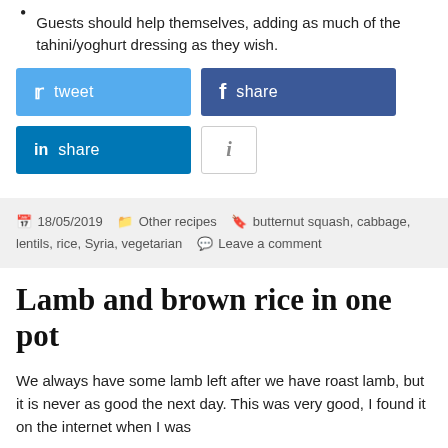Guests should help themselves, adding as much of the tahini/yoghurt dressing as they wish.
[Figure (screenshot): Social media sharing buttons: Twitter (tweet), Facebook (share), LinkedIn (share), and an info (i) button]
18/05/2019   Other recipes   butternut squash, cabbage, lentils, rice, Syria, vegetarian   Leave a comment
Lamb and brown rice in one pot
We always have some lamb left after we have roast lamb, but it is never as good the next day. This was very good, I found it on the internet when I was